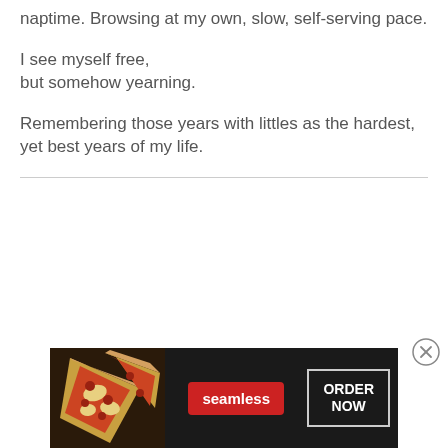naptime. Browsing at my own, slow, self-serving pace.
I see myself free,
but somehow yearning.
Remembering those years with littles as the hardest, yet best years of my life.
[Figure (other): Advertisement banner for Seamless food delivery service showing pizza images on the left, Seamless logo in red in the center, and 'ORDER NOW' button on the right against a dark background.]